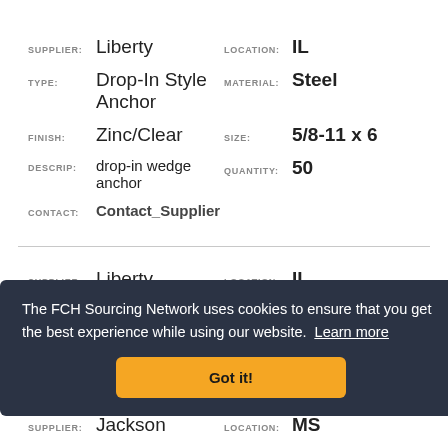SUPPLIER: Liberty   LOCATION: IL
TYPE: Drop-In Style Anchor   MATERIAL: Steel
FINISH: Zinc/Clear   SIZE: 5/8-11 x 6
DESCRIP: drop-in wedge anchor   QUANTITY: 50
CONTACT: Contact_Supplier
SUPPLIER: Liberty   LOCATION: IL
TYPE: Drop-In Style Anchor   MATERIAL: Steel
The FCH Sourcing Network uses cookies to ensure that you get the best experience while using our website.  Learn more
Got it!
SUPPLIER: Jackson   LOCATION: MS